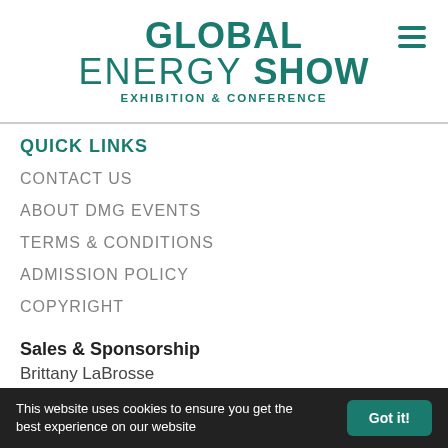GLOBAL ENERGY SHOW EXHIBITION & CONFERENCE
QUICK LINKS
CONTACT US
ABOUT DMG EVENTS
TERMS & CONDITIONS
ADMISSION POLICY
COPYRIGHT
Sales & Sponsorship
Brittany LaBrosse
+1 (403) 828 2288
This website uses cookies to ensure you get the best experience on our website